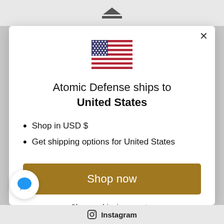[Figure (logo): Atomic Defense logo mark - triangle with base bar]
[Figure (illustration): United States flag emoji]
Atomic Defense ships to United States
Shop in USD $
Get shipping options for United States
Shop now
Change shipping country
[Figure (illustration): Blue speech bubble chat icon]
Instagram